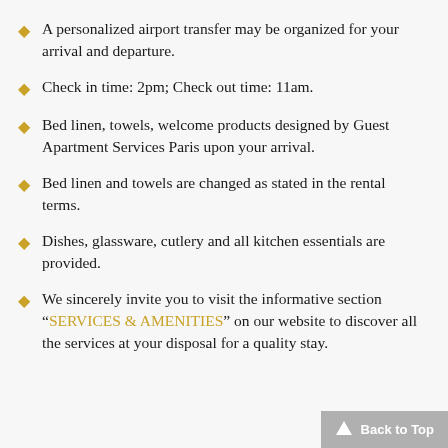A personalized airport transfer may be organized for your arrival and departure.
Check in time: 2pm; Check out time: 11am.
Bed linen, towels, welcome products designed by Guest Apartment Services Paris upon your arrival.
Bed linen and towels are changed as stated in the rental terms.
Dishes, glassware, cutlery and all kitchen essentials are provided.
We sincerely invite you to visit the informative section "SERVICES & AMENITIES" on our website to discover all the services at your disposal for a quality stay.